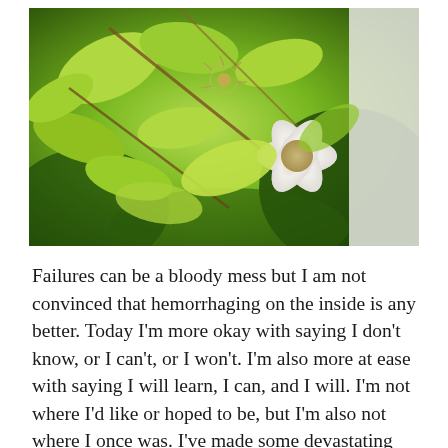[Figure (photo): Close-up photograph of a white clematis flower with six petals and a feathery seed head visible among bright green vines and leaves climbing against a white wall or fence. The foliage is lush with light green and darker green leaves. Brown woody stems are visible.]
Failures can be a bloody mess but I am not convinced that hemorrhaging on the inside is any better. Today I'm more okay with saying I don't know, or I can't, or I won't. I'm also more at ease with saying I will learn, I can, and I will. I'm not where I'd like or hoped to be, but I'm also not where I once was. I've made some devastating